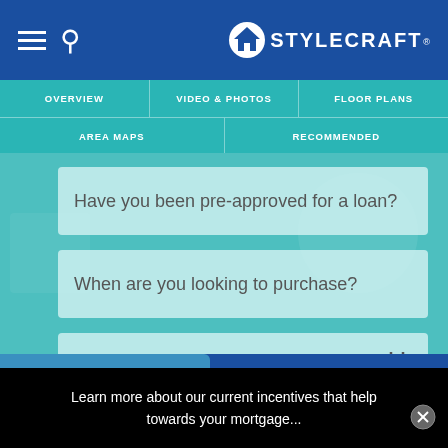STYLECRAFT — navigation header with hamburger menu, search icon, and Stylecraft logo
OVERVIEW | VIDEO & PHOTOS | FLOOR PLANS
AREA MAPS | RECOMMENDED
Have you been pre-approved for a loan?
When are you looking to purchase?
Preferred Appointment Date: mm/dd/yyyy
Message
Learn more about our current incentives that help towards your mortgage...